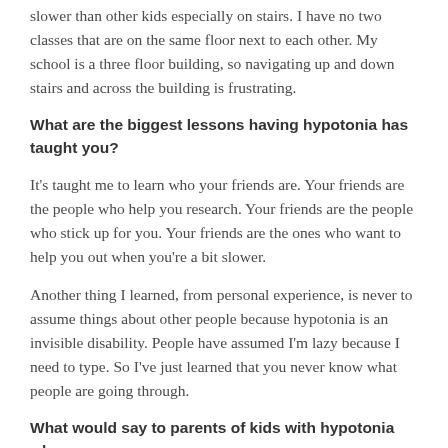slower than other kids especially on stairs. I have no two classes that are on the same floor next to each other. My school is a three floor building, so navigating up and down stairs and across the building is frustrating.
What are the biggest lessons having hypotonia has taught you?
It's taught me to learn who your friends are. Your friends are the people who help you research. Your friends are the people who stick up for you. Your friends are the ones who want to help you out when you're a bit slower.
Another thing I learned, from personal experience, is never to assume things about other people because hypotonia is an invisible disability. People have assumed I'm lazy because I need to type. So I've just learned that you never know what people are going through.
What would say to parents of kids with hypotonia who are